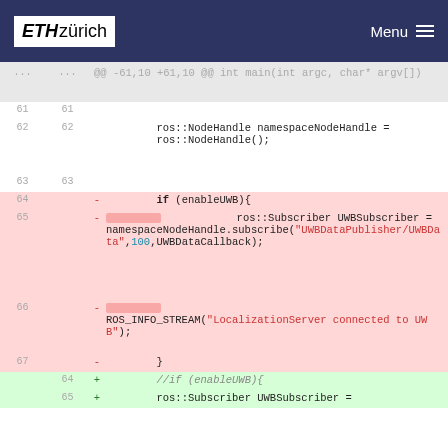ETH zürich | Menu
[Figure (screenshot): Code diff view showing removal of UWB subscriber code block and replacement with commented-out version. Lines 61-67 removed (red), lines 64-65 added (green). Context lines 61-63 show ros::NodeHandle namespaceNodeHandle initialization.]